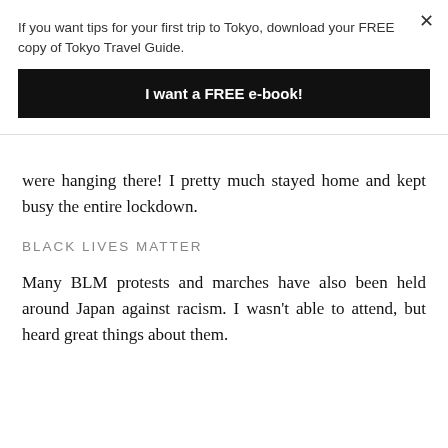If you want tips for your first trip to Tokyo, download your FREE copy of Tokyo Travel Guide.
I want a FREE e-book!
were hanging there! I pretty much stayed home and kept busy the entire lockdown.
BLACK LIVES MATTER
Many BLM protests and marches have also been held around Japan against racism. I wasn’t able to attend, but heard great things about them.